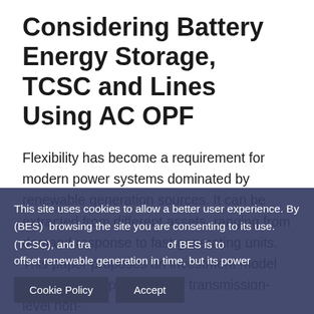Considering Battery Energy Storage, TCSC and Lines Using AC OPF
Flexibility has become a requirement for modern power systems dominated by renewable generation sources. It can be extracted from different assets, ranging from demand response to fast generating units. This paper proposes an investment model that finds an optimal mix of transmission-level non- (BES) ... (TCSC), and tra... of BES is to offset renewable generation in time, but its power
This site uses cookies to allow a better user experience. By browsing the site you are consenting to its use.